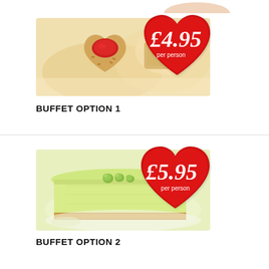[Figure (photo): Heart-shaped scone with jam and cream, with red heart price badge showing £4.95 per person — Buffet Option 1]
BUFFET OPTION 1
[Figure (photo): Slice of lime/lemon cheesecake with grapes, with red heart price badge showing £5.95 per person — Buffet Option 2]
BUFFET OPTION 2